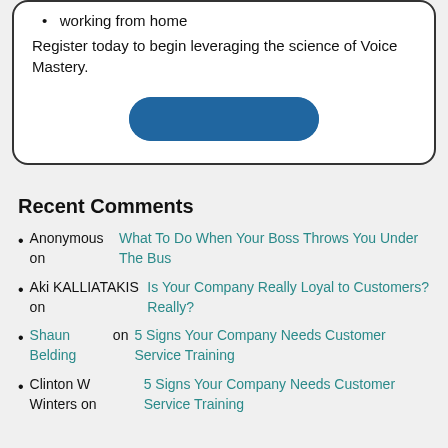working from home
Register today to begin leveraging the science of Voice Mastery.
[Figure (other): Blue rounded rectangle button (Register button)]
Recent Comments
Anonymous on What To Do When Your Boss Throws You Under The Bus
Aki KALLIATAKIS on Is Your Company Really Loyal to Customers? Really?
Shaun Belding on 5 Signs Your Company Needs Customer Service Training
Clinton W Winters on 5 Signs Your Company Needs Customer Service Training